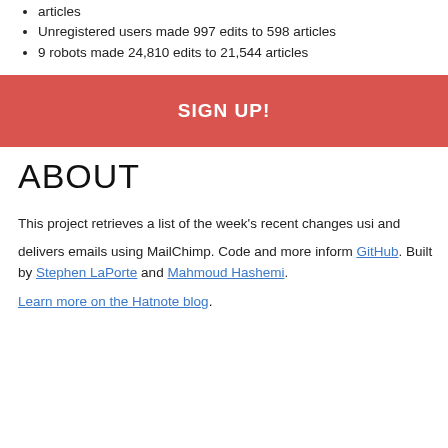articles
Unregistered users made 997 edits to 598 articles
9 robots made 24,810 edits to 21,544 articles
[Figure (other): Red SIGN UP! banner button]
ABOUT
This project retrieves a list of the week's recent changes using and delivers emails using MailChimp. Code and more inform GitHub. Built by Stephen LaPorte and Mahmoud Hashemi.
Learn more on the Hatnote blog.